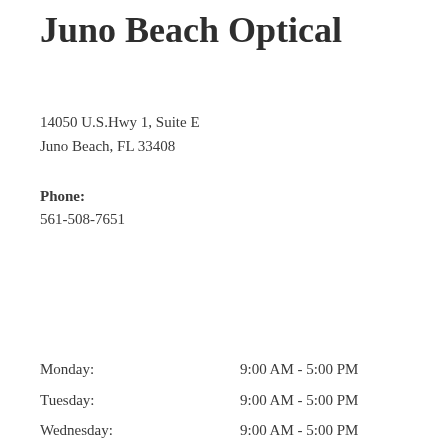Juno Beach Optical
14050 U.S.Hwy 1, Suite E
Juno Beach, FL 33408
Phone:
561-508-7651
Monday: 9:00 AM - 5:00 PM
Tuesday: 9:00 AM - 5:00 PM
Wednesday: 9:00 AM - 5:00 PM